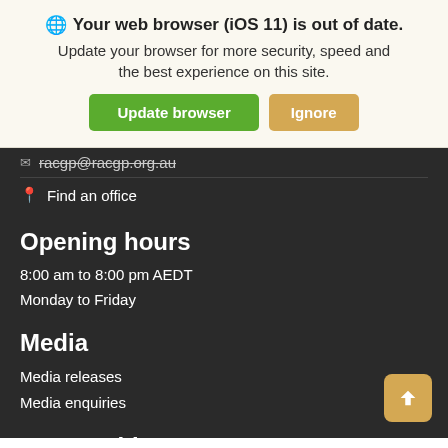Your web browser (iOS 11) is out of date.
Update your browser for more security, speed and the best experience on this site.
racgp@racgp.org.au
Find an office
Opening hours
8:00 am to 8:00 pm AEDT
Monday to Friday
Media
Media releases
Media enquiries
Partnerships
Advertising, Sponsorship and Partnerships